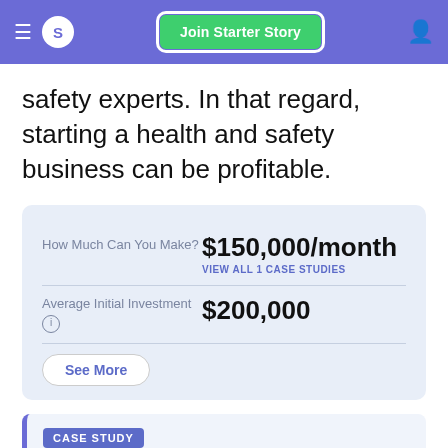S  Join Starter Story
safety experts. In that regard, starting a health and safety business can be profitable.
| Label | Value |
| --- | --- |
| How Much Can You Make? | $150,000/month VIEW ALL 1 CASE STUDIES |
| Average Initial Investment | $200,000 |
See More
CASE STUDY
Hi, I'm Brendan Torazzi, the CEO of